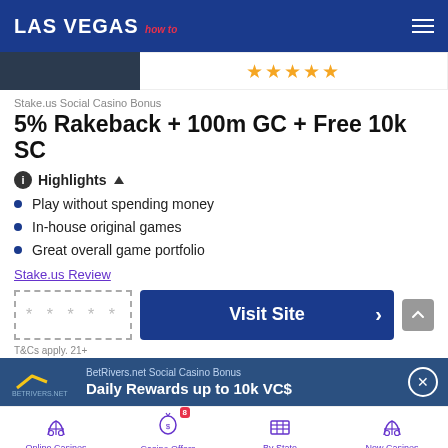LAS VEGAS how to
[Figure (screenshot): Star rating area with 5 gold stars]
Stake.us Social Casino Bonus
5% Rakeback + 100m GC + Free 10k SC
Highlights
Play without spending money
In-house original games
Great overall game portfolio
Stake.us Review
* * * * *   Visit Site
T&Cs apply. 21+
BetRivers.net Social Casino Bonus
Daily Rewards up to 10k VC$
Online Casinos   Casino Offers   By State   New Casinos